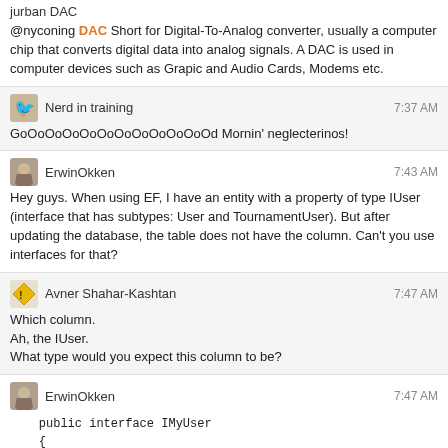jurban DAC
@nyconing DAC Short for Digital-To-Analog converter, usually a computer chip that converts digital data into analog signals. A DAC is used in computer devices such as Grapic and Audio Cards, Modems etc.
Nerd in training  7:37 AM
GoOoOoOoOoOoOoOoOoOoOoOd Mornin' neglecterinos!
ErwinOkken  7:43 AM
Hey guys. When using EF, I have an entity with a property of type IUser (interface that has subtypes: User and TournamentUser). But after updating the database, the table does not have the column. Can't you use interfaces for that?
Avner Shahar-Kashtan  7:47 AM
Which column?
Ah, the IUser.
What type would you expect this column to be?
ErwinOkken  7:47 AM
public interface IMyUser
{
    string Id { get; set; }
}
I kinda hoped EF would understand it. But I guess it does not then :P
I have a "Match" that should contains two users. Those users can either be real users (asp.net identity) or anonymous users (tournamentuser) that can't login. How should I model this then instead?
Theodorus Agum Gumilang  7:57 AM